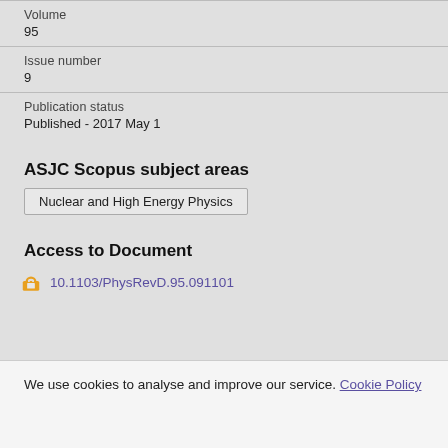Volume
95
Issue number
9
Publication status
Published - 2017 May 1
ASJC Scopus subject areas
Nuclear and High Energy Physics
Access to Document
10.1103/PhysRevD.95.091101
We use cookies to analyse and improve our service. Cookie Policy